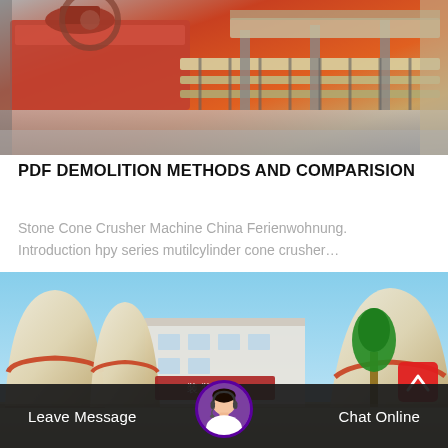[Figure (photo): Industrial machinery / conveyor equipment, orange and grey metal, factory setting]
PDF DEMOLITION METHODS AND COMPARISION
Stone Cone Crusher Machine China Ferienwohnung. Introduction hpy series mutilcylinder cone crusher…
[Figure (photo): Exterior of a stone crushing facility with large cone crusher machines (cream/beige towers with red trim), blue sky, trees, and Chinese text signage]
Leave Message
Chat Online